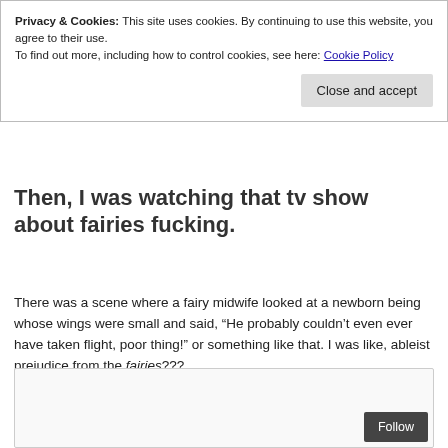Privacy & Cookies: This site uses cookies. By continuing to use this website, you agree to their use.
To find out more, including how to control cookies, see here: Cookie Policy
Close and accept
Then, I was watching that tv show about fairies fucking.
There was a scene where a fairy midwife looked at a newborn being whose wings were small and said, “He probably couldn’t even ever have taken flight, poor thing!” or something like that. I was like, ableist prejudice from the fairies???
[Figure (other): Empty content box at bottom of page with Follow button]
Follow